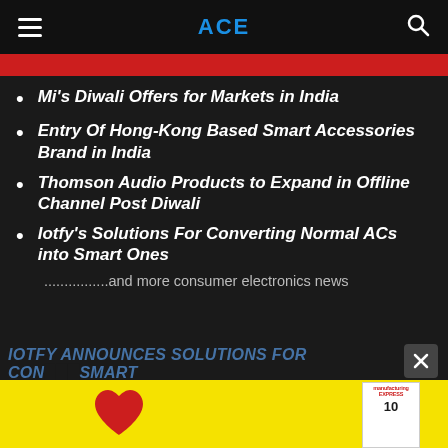ACE
[Figure (other): Red banner strip at top of content area]
Mi's Diwali Offers for Markets in India
Entry Of Hong-Kong Based Smart Accessories Brand in India
Thomson Audio Products to Expand in Offline Channel Post Diwali
Iotfy’s Solutions For Converting Normal ACs into Smart Ones
................and more consumer electronics news
[Figure (other): Yellow advertisement banner at the bottom with a red heart illustration and a magazine cover for Manufacturing Express]
IOTFY ANNOUNCES SOLUTIONS FOR CONVERTING ... SMART